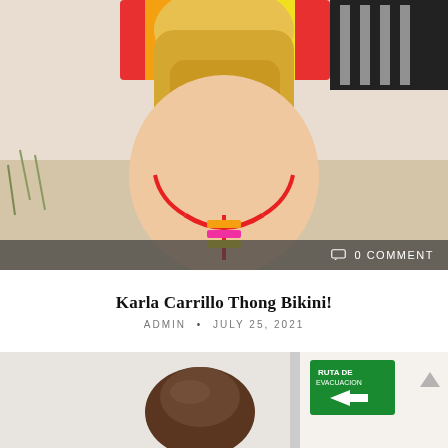[Figure (photo): Beach photo showing a person from behind wearing a colorful thong bikini and striped cover-up, with sandy outdoor background]
0 COMMENT
Karla Carrillo Thong Bikini!
ADMIN • JULY 25, 2021
[Figure (photo): Indoor photo of a person with short dark hair near a door with a green 'Ruta de Evacuacion' emergency exit sign with arrow]